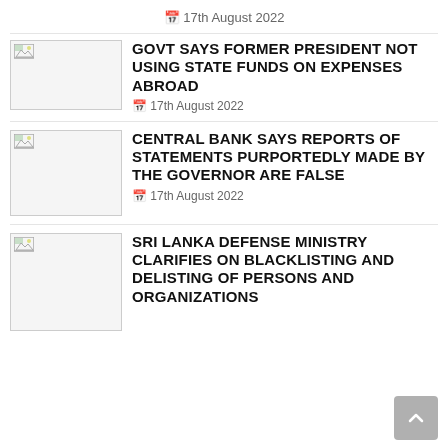17th August 2022
[Figure (photo): Thumbnail image placeholder for first news article]
GOVT SAYS FORMER PRESIDENT NOT USING STATE FUNDS ON EXPENSES ABROAD
17th August 2022
[Figure (photo): Thumbnail image placeholder for second news article]
CENTRAL BANK SAYS REPORTS OF STATEMENTS PURPORTEDLY MADE BY THE GOVERNOR ARE FALSE
17th August 2022
[Figure (photo): Thumbnail image placeholder for third news article]
SRI LANKA DEFENSE MINISTRY CLARIFIES ON BLACKLISTING AND DELISTING OF PERSONS AND ORGANIZATIONS